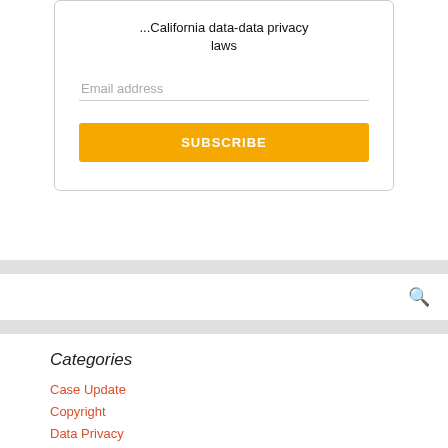...California data privacy laws
Email address
SUBSCRIBE
Categories
Case Update
Copyright
Data Privacy
Events
Franchise
Information Technology